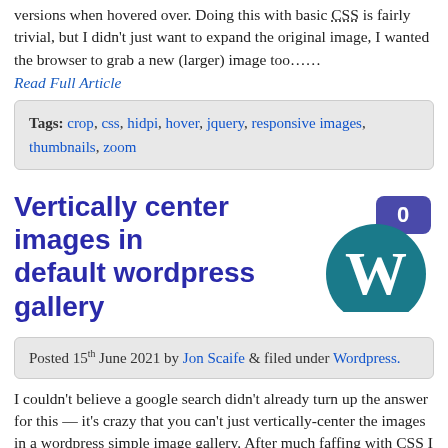versions when hovered over. Doing this with basic CSS is fairly trivial, but I didn't just want to expand the original image, I wanted the browser to grab a new (larger) image too……
Read Full Article
Tags: crop, css, hidpi, hover, jquery, responsive images, thumbnails, zoom
Vertically center images in default wordpress gallery
[Figure (logo): WordPress logo with a comment bubble showing 0]
Posted 15th June 2021 by Jon Scaife & filed under Wordpress.
I couldn't believe a google search didn't already turn up the answer for this — it's crazy that you can't just vertically-center the images in a wordpress simple image gallery. After much faffing with CSS I found a simple answer… Read Full Article